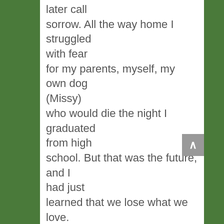later call sorrow. All the way home I struggled with fear for my parents, myself, my own dog (Missy) who would die the night I graduated from high school. But that was the future, and I had just learned that we lose what we love.

All these years later, sometimes on summer nights, I dream of Missy, far beyond my hands that would touch her one more time; and I would give so much to be at that drive-